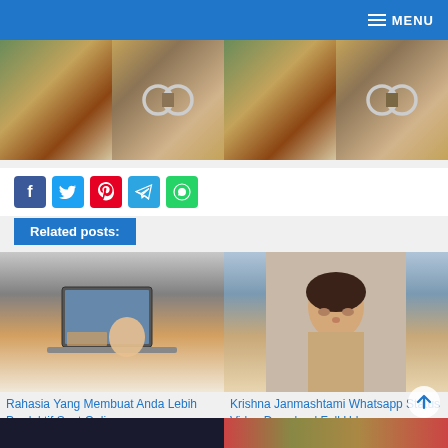MENU
[Figure (photo): Two food/jewelry photos side by side showing colorful dishes and a Chanel necklace on brown fabric]
[Figure (infographic): Social share buttons: Facebook, Twitter, Pinterest, Telegram, WhatsApp]
Related posts:
[Figure (photo): Person working on laptop at desk]
Rahasia Yang Membuat Anda Lebih Produktif Saat Online
[Figure (photo): Young woman portrait photo]
Krishna Janmashtami Whatsapp Status Video Download Full Hd
[Figure (photo): Bottom related post images partially visible]